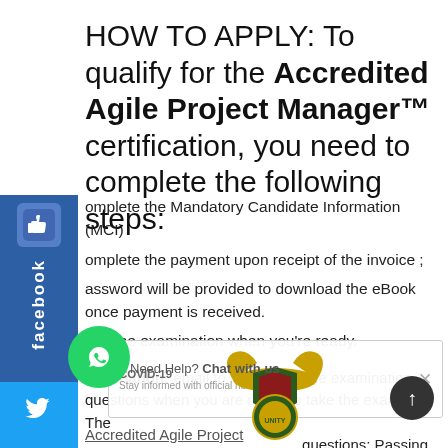HOW TO APPLY: To qualify for the Accredited Agile Project Manager™ certification, you need to complete the following steps:
Complete the Mandatory Candidate Information (MCI)
Complete the payment upon receipt of the invoice ;
Password will be provided to download the eBook once payment is received.
Take the examination when you're ready.
Examination: email to request for the examination questions when you are ready to take the exam.  The questions; Passing
[Figure (screenshot): COVID-19 Stay informed with official news & stats overlay banner with South African coat of arms logo]
[Figure (logo): South Africa government coat of arms / eagle emblem]
[Figure (logo): Facebook social media sidebar widget (blue thumbs up icon with 'facebook' text)]
[Figure (logo): Twitter social media sidebar widget]
[Figure (logo): WhatsApp chat button (green circle with phone icon)]
Need Help? Chat with us